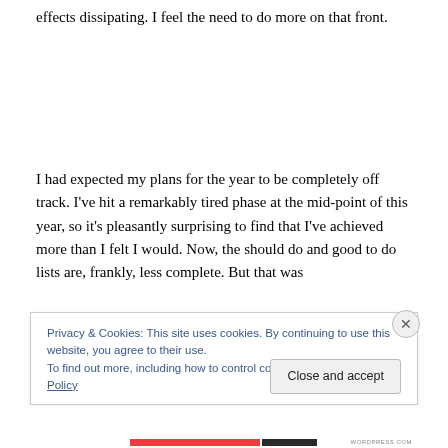effects dissipating. I feel the need to do more on that front.
I had expected my plans for the year to be completely off track. I've hit a remarkably tired phase at the mid-point of this year, so it's pleasantly surprising to find that I've achieved more than I felt I would. Now, the should do and good to do lists are, frankly, less complete. But that was
Privacy & Cookies: This site uses cookies. By continuing to use this website, you agree to their use.
To find out more, including how to control cookies, see here: Cookie Policy
Close and accept